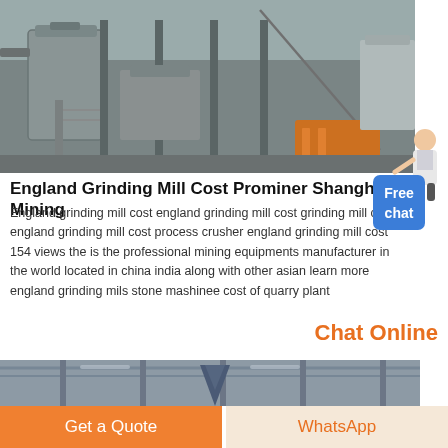[Figure (photo): Industrial mining equipment facility interior showing large metal tanks, pipes, support columns, and an orange machine unit]
[Figure (other): Free chat badge with a person illustration on the right side]
England Grinding Mill Cost Prominer Shanghai Mining
England grinding mill cost england grinding mill cost grinding mill china england grinding mill cost process crusher england grinding mill cost 154 views the is the professional mining equipments manufacturer in the world located in china india along with other asian learn more england grinding mils stone mashinee cost of quarry plant
Chat Online
[Figure (photo): Interior of industrial facility with blue hopper/cone crusher equipment suspended from ceiling rafters]
Get a Quote
WhatsApp